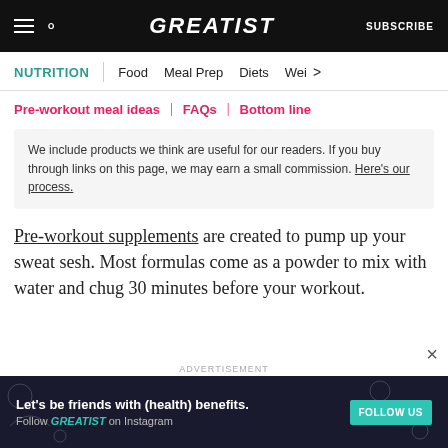GREATIST | SUBSCRIBE
NUTRITION | Food | Meal Prep | Diets | Wei >
Pre-workout meal ideas | FAQs | Bottom line
We include products we think are useful for our readers. If you buy through links on this page, we may earn a small commission. Here's our process.
Pre-workout supplements are created to pump up your sweat sesh. Most formulas come as a powder to mix with water and chug 30 minutes before your workout.
[Figure (other): Advertisement banner: Let's be friends with (health) benefits. Follow GREATIST on Instagram. FOLLOW US button.]